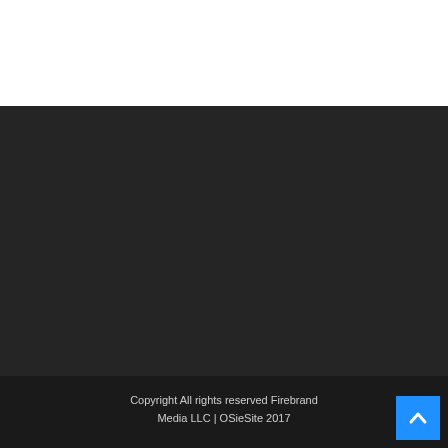Copyright All rights reserved Firebrand Media LLC | OSieSite 2017